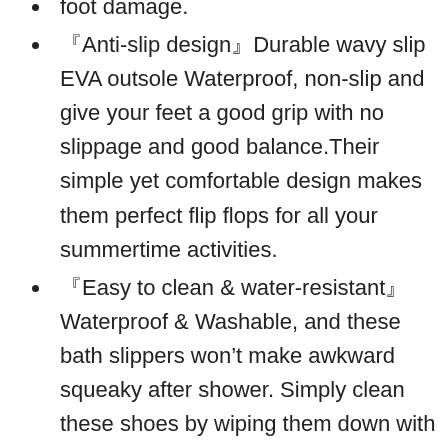foot damage.
〖Anti-slip design〗Durable wavy slip EVA outsole Waterproof, non-slip and give your feet a good grip with no slippage and good balance.Their simple yet comfortable design makes them perfect flip flops for all your summertime activities.
〖Easy to clean & water-resistant〗Waterproof & Washable, and these bath slippers won't make awkward squeaky after shower. Simply clean these shoes by wiping them down with a clean damp cloth. These